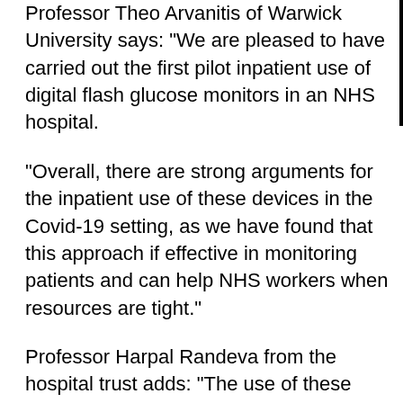Professor Theo Arvanitis of Warwick University says: “We are pleased to have carried out the first pilot inpatient use of digital flash glucose monitors in an NHS hospital.
“Overall, there are strong arguments for the inpatient use of these devices in the Covid-19 setting, as we have found that this approach if effective in monitoring patients and can help NHS workers when resources are tight.”
Professor Harpal Randeva from the hospital trust adds: “The use of these devices frees nursing time, allows closer monitoring of patients and is popular with them.
“Building on this evaluation we have now offered